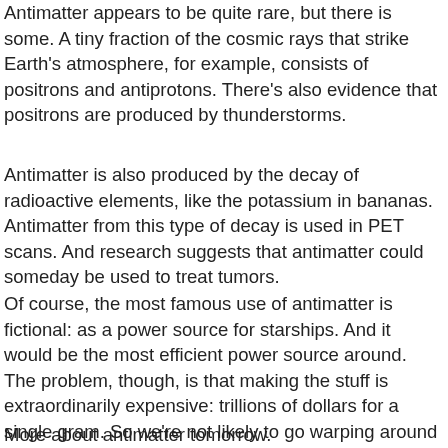Antimatter appears to be quite rare, but there is some. A tiny fraction of the cosmic rays that strike Earth's atmosphere, for example, consists of positrons and antiprotons. There's also evidence that positrons are produced by thunderstorms.
Antimatter is also produced by the decay of radioactive elements, like the potassium in bananas. Antimatter from this type of decay is used in PET scans. And research suggests that antimatter could someday be used to treat tumors.
Of course, the most famous use of antimatter is fictional: as a power source for starships. And it would be the most efficient power source around. The problem, though, is that making the stuff is extraordinarily expensive: trillions of dollars for a single gram. So we're not likely to go warping around the galaxy in antimatter-powered ships anytime soon.
More about antimatter tomorrow.